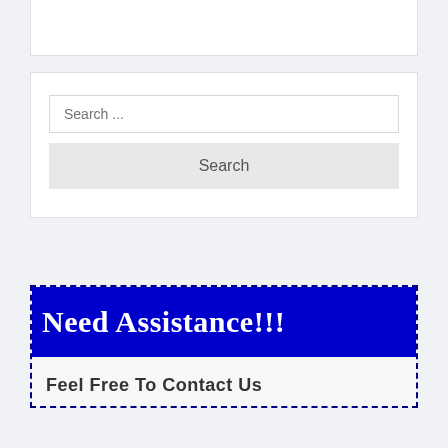[Figure (screenshot): Top portion of a white card/box visible at the top of the page]
[Figure (screenshot): Search widget with a text input field showing 'Search ...' placeholder and a Search button below it]
Need Assistance!!!
Feel Free To Contact Us